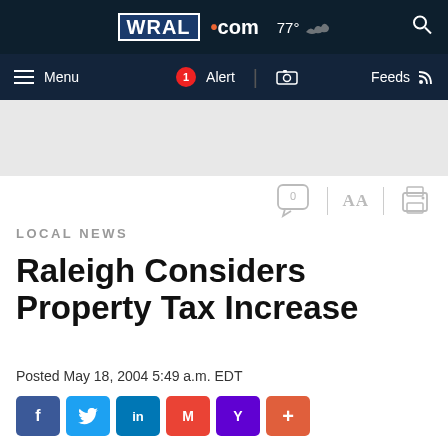WRAL.com 77° Menu 1 Alert Feeds
[Figure (screenshot): WRAL.com website header with navigation bar showing logo, weather (77°), menu, alert badge, camera icon, feeds, and search icon]
LOCAL NEWS
Raleigh Considers Property Tax Increase
Posted May 18, 2004 5:49 a.m. EDT
[Figure (infographic): Social sharing buttons: Facebook, Twitter, LinkedIn, Gmail, Yahoo, More (+)]